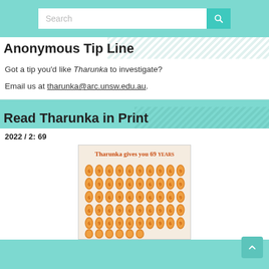[Figure (screenshot): Search bar with teal background and search icon button]
Anonymous Tip Line
Got a tip you'd like Tharunka to investigate?
Email us at tharunka@arc.unsw.edu.au.
Read Tharunka in Print
2022 / 2: 69
[Figure (illustration): Magazine cover showing 'Tharunka gives you 69 years' with orange hotdog-shaped characters arranged in a grid on a cream background]